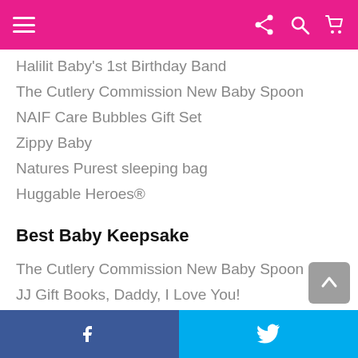Navigation bar with menu, share, search, and cart icons
Halilit Baby's 1st Birthday Band
The Cutlery Commission New Baby Spoon
NAIF Care Bubbles Gift Set
Zippy Baby
Natures Purest sleeping bag
Huggable Heroes®
Best Baby Keepsake
The Cutlery Commission New Baby Spoon
JJ Gift Books, Daddy, I Love You!
Facebook share | Twitter share